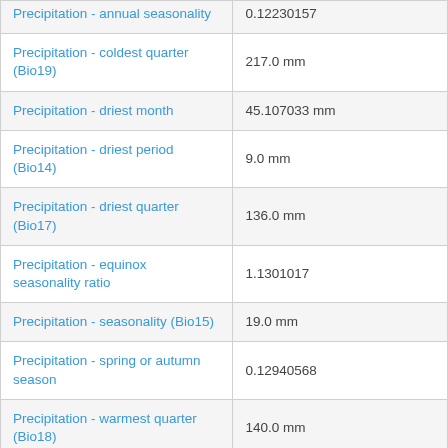| Parameter | Value |
| --- | --- |
| Precipitation - annual seasonality | 0.12230157 |
| Precipitation - coldest quarter (Bio19) | 217.0 mm |
| Precipitation - driest month | 45.107033 mm |
| Precipitation - driest period (Bio14) | 9.0 mm |
| Precipitation - driest quarter (Bio17) | 136.0 mm |
| Precipitation - equinox seasonality ratio | 1.1301017 |
| Precipitation - seasonality (Bio15) | 19.0 mm |
| Precipitation - spring or autumn season | 0.12940568 |
| Precipitation - warmest quarter (Bio18) | 140.0 mm |
| Precipitation - wettest month | 76.0 mm |
| Precipitation - wettest period (Bio13) | 19.0 mm |